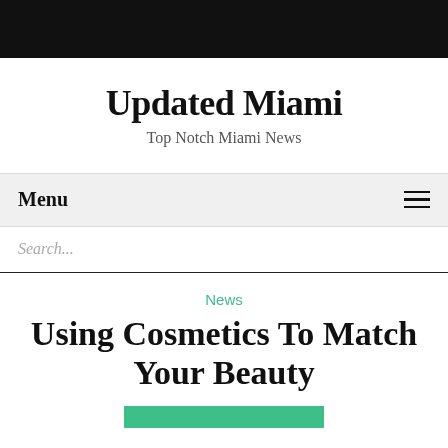Updated Miami
Top Notch Miami News
Menu
Search...
News
Using Cosmetics To Match Your Beauty